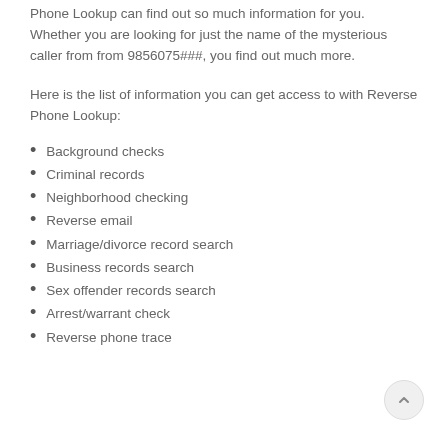Phone Lookup can find out so much information for you. Whether you are looking for just the name of the mysterious caller from from 9856075###, you find out much more.
Here is the list of information you can get access to with Reverse Phone Lookup:
Background checks
Criminal records
Neighborhood checking
Reverse email
Marriage/divorce record search
Business records search
Sex offender records search
Arrest/warrant check
Reverse phone trace